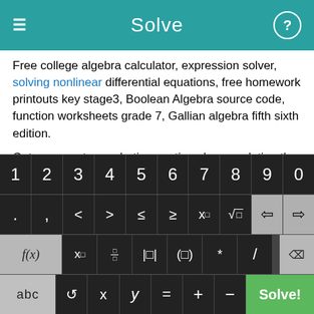Solve
Free college algebra calculator, expression solver, solving nonlinear differential equations, free homework printouts key stage3, Boolean Algebra source code, function worksheets grade 7, Gallian algebra fifth sixth edition.
Get answers to quadratic equations by completing the square, graph integers to make picture, Factoring cubed roots, how to solve multiple equations with TI 89, aptitude test+download.
[Figure (screenshot): Calculator keyboard with numeric keys 1-9,0, operator and comparison keys, function keys f(x), x subscript, fraction, absolute value, parentheses, multiply, divide, delete, and bottom row with abc, rotate, x, y, =, +, -, and Solve! green button]